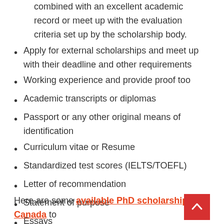Applicant should have exceptional research potential combined with an excellent academic record or meet up with the evaluation criteria set up by the scholarship body.
Apply for external scholarships and meet up with their deadline and other requirements
Working experience and provide proof too
Academic transcripts or diplomas
Passport or any other original means of identification
Curriculum vitae or Resume
Standardized test scores (IELTS/TOEFL)
Letter of recommendation
Statement of purpose
Essays
Here are some available PhD scholarships in Canada to